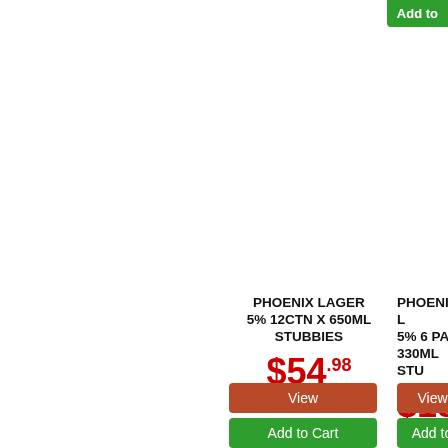[Figure (screenshot): Green 'Add to Cart' button partially visible at top-right corner of the page, cropped]
PHOENIX LAGER 5% 12CTN X 650ML STUBBIES
$54.98
View
Add to Cart
PHOENIX LAGER 5% 6 PA 330ML STU
$18
View
Add to